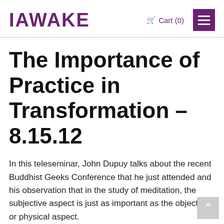IAWAKE   Cart (0)
The Importance of Practice in Transformation – 8.15.12
In this teleseminar, John Dupuy talks about the recent Buddhist Geeks Conference that he just attended and his observation that in the study of meditation, the subjective aspect is just as important as the objective or physical aspect.